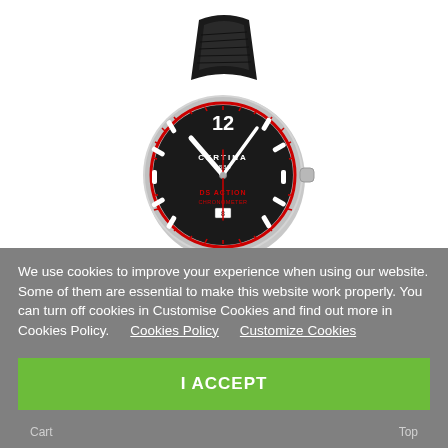[Figure (photo): Certina DS Action Chronometer watch with black dial, silver stainless steel case, red accents, and black crocodile-pattern leather strap. The dial shows '12' at top, 'CERTINA 1888' branding, 'DS ACTION CHRONOMETER' text, and a date window at 6 o'clock position. White baton hour markers and hands.]
We use cookies to improve your experience when using our website. Some of them are essential to make this website work properly. You can turn off cookies in Customise Cookies and find out more in Cookies Policy.   Cookies Policy   Customize Cookies
I ACCEPT
Cart   Top